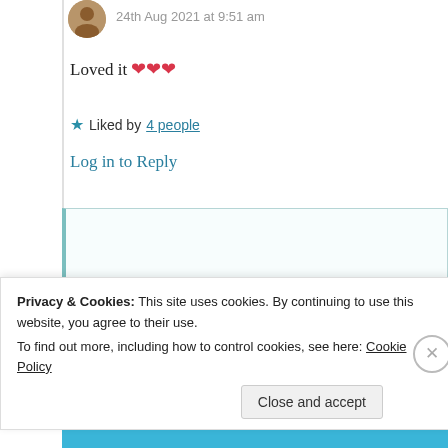24th Aug 2021 at 9:51 am
Loved it ❤❤❤
★ Liked by 4 people
Log in to Reply
[Figure (photo): Circular avatar photo of a person]
Suma Reddy
24th Aug 2021 at 7:49 pm
Privacy & Cookies: This site uses cookies. By continuing to use this website, you agree to their use. To find out more, including how to control cookies, see here: Cookie Policy
Close and accept